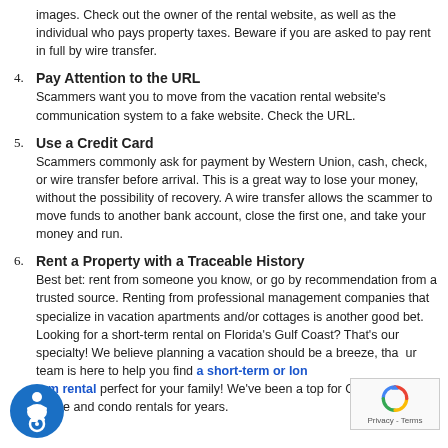images. Check out the owner of the rental website, as well as the individual who pays property taxes. Beware if you are asked to pay rent in full by wire transfer.
4. Pay Attention to the URL
Scammers want you to move from the vacation rental website's communication system to a fake website. Check the URL.
5. Use a Credit Card
Scammers commonly ask for payment by Western Union, cash, check, or wire transfer before arrival. This is a great way to lose your money, without the possibility of recovery. A wire transfer allows the scammer to move funds to another bank account, close the first one, and take your money and run.
6. Rent a Property with a Traceable History
Best bet: rent from someone you know, or go by recommendation from a trusted source. Renting from professional management companies that specialize in vacation apartments and/or cottages is another good bet. Looking for a short-term rental on Florida's Gulf Coast? That's our specialty! We believe planning a vacation should be a breeze, that our team is here to help you find a short-term or long-term rental perfect for your family! We've been a top for Gulf Coast house and condo rentals for years.